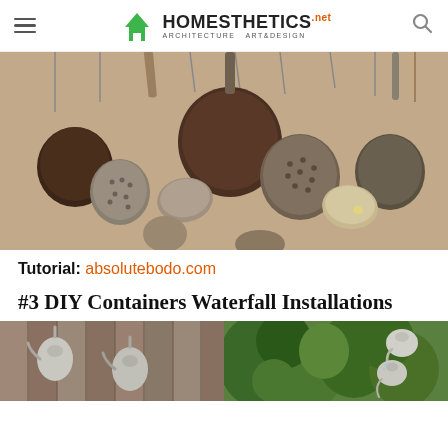Homesthetics.net — Architecture Art & Design
[Figure (photo): Close-up photo of multiple antique/rustic metal kitchen utensils (ladles, strainers, spoons) hanging from hooks against a beige/tan background. The utensils are dark bronze, silver, and patinated metal.]
Tutorial: absolutebodo.com
#3 DIY Containers Waterfall Installations
[Figure (photo): Two side-by-side photos at the bottom: left shows metal watering cans/containers hung on a weathered wooden fence; right shows a lush green garden scene with metal watering cans arranged as a waterfall feature.]